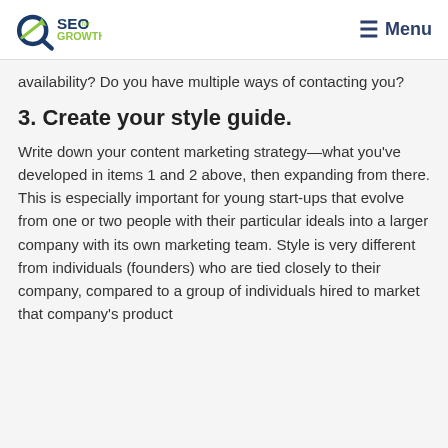SEO for GROWTH | Menu
availability? Do you have multiple ways of contacting you?
3. Create your style guide.
Write down your content marketing strategy—what you've developed in items 1 and 2 above, then expanding from there. This is especially important for young start-ups that evolve from one or two people with their particular ideals into a larger company with its own marketing team. Style is very different from individuals (founders) who are tied closely to their company, compared to a group of individuals hired to market that company's product